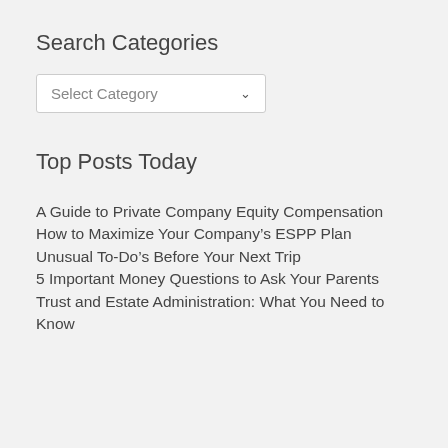Search Categories
[Figure (other): Dropdown selector UI element with label 'Select Category' and a chevron arrow]
Top Posts Today
A Guide to Private Company Equity Compensation
How to Maximize Your Company’s ESPP Plan
Unusual To-Do’s Before Your Next Trip
5 Important Money Questions to Ask Your Parents
Trust and Estate Administration: What You Need to Know